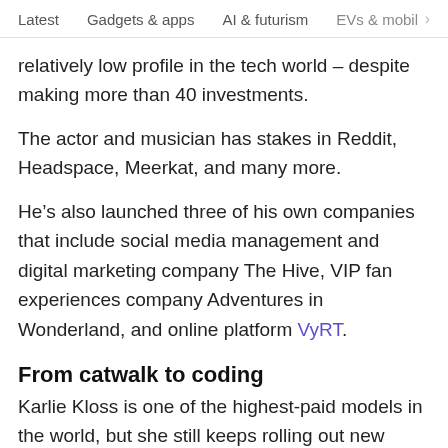Latest   Gadgets & apps   AI & futurism   EVs & mobil
relatively low profile in the tech world – despite making more than 40 investments.
The actor and musician has stakes in Reddit, Headspace, Meerkat, and many more.
He's also launched three of his own companies that include social media management and digital marketing company The Hive, VIP fan experiences company Adventures in Wonderland, and online platform VyRT.
From catwalk to coding
Karlie Kloss is one of the highest-paid models in the world, but she still keeps rolling out new